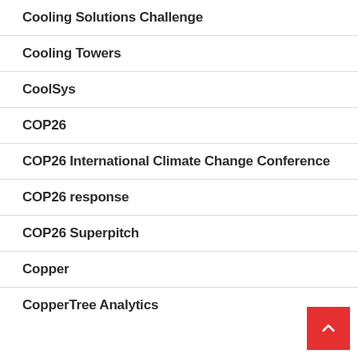Cooling Solutions Challenge
Cooling Towers
CoolSys
COP26
COP26 International Climate Change Conference
COP26 response
COP26 Superpitch
Copper
CopperTree Analytics